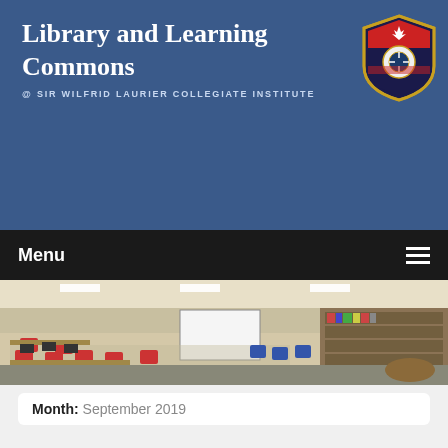Library and Learning Commons
@ SIR WILFRID LAURIER COLLEGIATE INSTITUTE
[Figure (logo): School shield/crest logo for Sir Wilfrid Laurier Collegiate Institute with red maple leaf and dark border]
Menu
[Figure (photo): Panoramic view of the school library and learning commons interior showing computers, red chairs, blue chairs, bookshelves, and whiteboards]
Month: September 2019
Thursday September 26th, 2019
September 25, 2019  Susan Vilicic